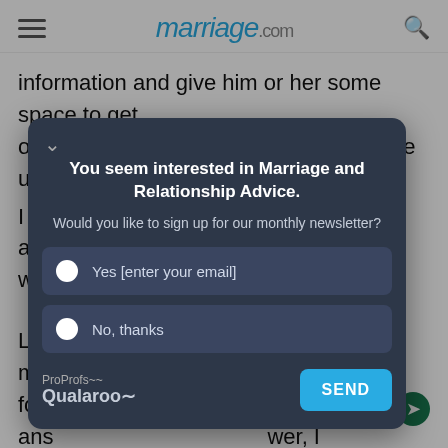marriage.com
information and give him or her some space to get out of the usual defensive mode they are used to. I ca... iddle of a h... ive me wh...
[Figure (screenshot): Qualaroo popup modal with dark background asking 'You seem interested in Marriage and Relationship Advice.' with newsletter signup options 'Yes [enter your email]' and 'No, thanks' and a SEND button.]
Let... eps to ma... ome fou... nship. ans... swer, I wo... rsation on...